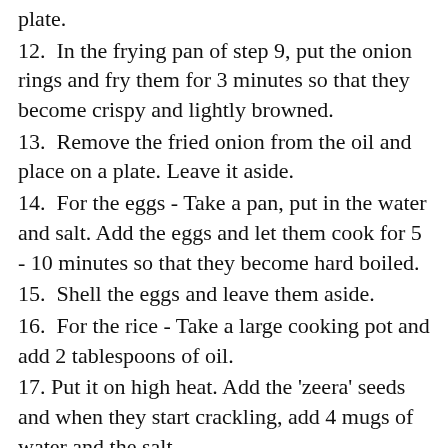plate.
12.  In the frying pan of step 9, put the onion rings and fry them for 3 minutes so that they become crispy and lightly browned.
13.  Remove the fried onion from the oil and place on a plate. Leave it aside.
14.  For the eggs - Take a pan, put in the water and salt. Add the eggs and let them cook for 5 - 10 minutes so that they become hard boiled.
15.  Shell the eggs and leave them aside.
16.  For the rice - Take a large cooking pot and add 2 tablespoons of oil.
17. Put it on high heat. Add the 'zeera' seeds and when they start crackling, add 4 mugs of water and the salt.
18. When the water starts boiling, add the drained rice and let it cook for 10 - 15 minutes till you see pits being formed in it.
19.  Lower the heat, cover the pan and let it simmer